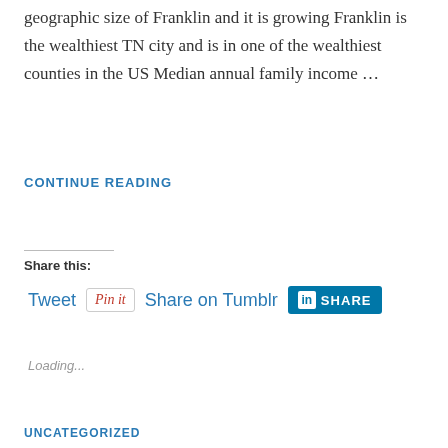geographic size of Franklin and it is growing Franklin is the wealthiest TN city and is in one of the wealthiest counties in the US Median annual family income …
CONTINUE READING
Share this:
[Figure (other): Social sharing buttons: Tweet, Pin it (Pinterest), Share on Tumblr, LinkedIn Share]
Loading...
UNCATEGORIZED